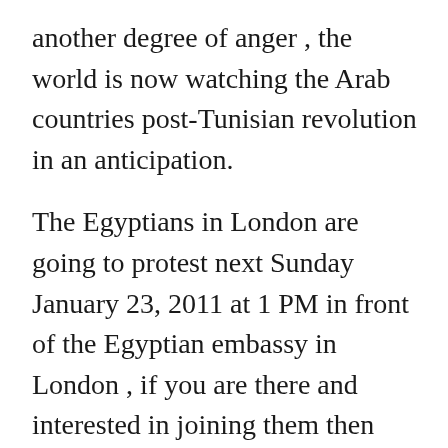another degree of anger , the world is now watching the Arab countries post-Tunisian revolution in an anticipation.
The Egyptians in London are going to protest next Sunday January 23, 2011 at 1 PM in front of the Egyptian embassy in London , if you are there and interested in joining them then here is the Egyptian embassy address : 26 South Street, Westminster, London W1K 1DW. There will be also insh Allah